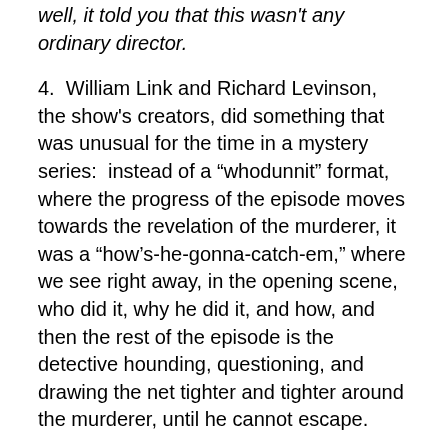well, it told you that this wasn't any ordinary director.
4.  William Link and Richard Levinson, the show's creators, did something that was unusual for the time in a mystery series:  instead of a “whodunnit” format, where the progress of the episode moves towards the revelation of the murderer, it was a “how’s-he-gonna-catch-em,” where we see right away, in the opening scene, who did it, why he did it, and how, and then the rest of the episode is the detective hounding, questioning, and drawing the net tighter and tighter around the murderer, until he cannot escape.
5.  One of the cool things about the series is the star-studded guest-murderer cast.  Here are a few of the well-known names:  William Shatner, Leonard Nimoy (they were in separate episodes), Robert Conrad, Johnny Cash,